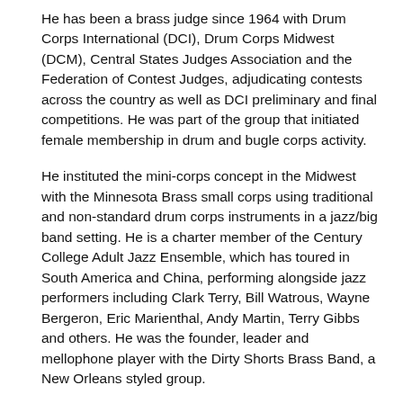He has been a brass judge since 1964 with Drum Corps International (DCI), Drum Corps Midwest (DCM), Central States Judges Association and the Federation of Contest Judges, adjudicating contests across the country as well as DCI preliminary and final competitions. He was part of the group that initiated female membership in drum and bugle corps activity.
He instituted the mini-corps concept in the Midwest with the Minnesota Brass small corps using traditional and non-standard drum corps instruments in a jazz/big band setting. He is a charter member of the Century College Adult Jazz Ensemble, which has toured in South America and China, performing alongside jazz performers including Clark Terry, Bill Watrous, Wayne Bergeron, Eric Marienthal, Andy Martin, Terry Gibbs and others. He was the founder, leader and mellophone player with the Dirty Shorts Brass Band, a New Orleans styled group.
He is a member of Bugles Across America. He has received the Brassy Award, considered the Minnesota Brass Hall of Fame and lifetime achievement award. He became an associate member of the World Drum Corps Hall of Fame in 2002.
Percussion: Tom Aungst of New Bedford, Massachusetts
Tom Aungst is widely recognized throughout the drum and bugle corps